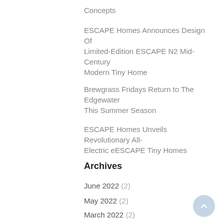Concepts
ESCAPE Homes Announces Design Of Limited-Edition ESCAPE N2 Mid-Century Modern Tiny Home
Brewgrass Fridays Return to The Edgewater This Summer Season
ESCAPE Homes Unveils Revolutionary All-Electric eESCAPE Tiny Homes
Archives
June 2022 (2)
May 2022 (2)
March 2022 (2)
December 2021 (1)